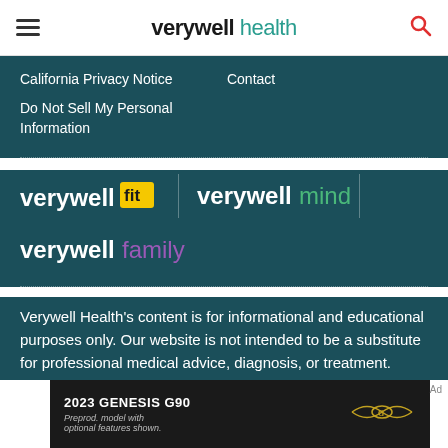verywell health
California Privacy Notice
Contact
Do Not Sell My Personal Information
[Figure (logo): verywell fit logo with yellow box]
[Figure (logo): verywell mind logo with green text]
[Figure (logo): verywell family logo with purple text]
Verywell Health's content is for informational and educational purposes only. Our website is not intended to be a substitute for professional medical advice, diagnosis, or treatment.
[Figure (photo): 2023 Genesis G90 car advertisement. Text: 2023 GENESIS G90, Preprod. model with optional features shown.]